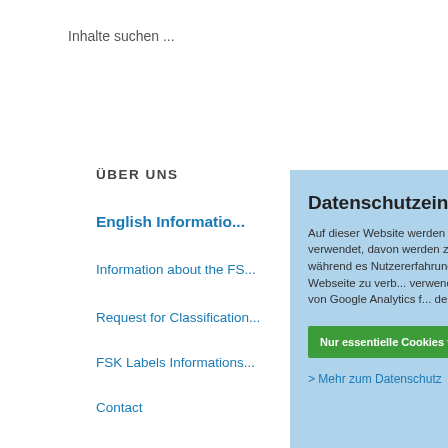Inhalte suchen ...
ÜBER UNS
English Information
Information about the FS...
Request for Classification...
FSK Labels Informations...
Contact
Channels
Für Firmen & Antragsteller
Eltern, Kinder & Jugendliche
Jetzt beteiligen
[Figure (screenshot): Cookie consent overlay with title 'Datenschutzeinstellungen', body text about cookies, two green buttons 'Nur essentielle Cookies verwenden' and 'All...', and a link '> Mehr zum Datenschutz']
Discs and videos might have on children and adolescents, and to rate the material according to its suitability for different age groups. The legal basis for the work of the FSK is §§ 10, 11, 12 and 14 of the Law for the Protection of Youth in Public Places (JuSchG).
§ 14 JuSchG: Labelling of films as well as film and play programmes which... education of Children and Adoles...